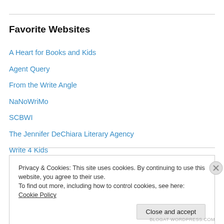Favorite Websites
A Heart for Books and Kids
Agent Query
From the Write Angle
NaNoWriMo
SCBWI
The Jennifer DeChiara Literary Agency
Write 4 Kids
Privacy & Cookies: This site uses cookies. By continuing to use this website, you agree to their use.
To find out more, including how to control cookies, see here: Cookie Policy
Close and accept